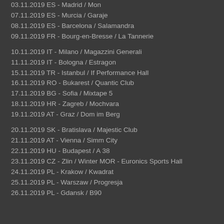03.11.2019 ES - Madrid / Mon
07.11.2019 ES - Murcia / Garaje
08.11.2019 ES - Barcelona / Salamandra
09.11.2019 FR - Bourg-en-Bresse / La Tannerie
10.11.2019 IT - Milano / Magazzini Generali
11.11.2019 IT - Bologna / Estragon
15.11.2019 TR - Istanbul / If Performance Hall
16.11.2019 RO - Bukarest / Quantic Club
17.11.2019 BG - Sofia / Mixtape 5
18.11.2019 HR - Zagreb / Mochvara
19.11.2019 AT - Graz / Dom im Berg
20.11.2019 SK - Bratislava / Majestic Club
21.11.2019 AT - Vienna / Simm City
22.11.2019 HU - Budapest / A 38
23.11.2019 CZ - Zlin / Winter MOR - Euronics Sports Hall
24.11.2019 PL - Krakow / Kwadrat
25.11.2019 PL - Warszaw / Progresja
26.11.2019 PL - Gdansk / B90